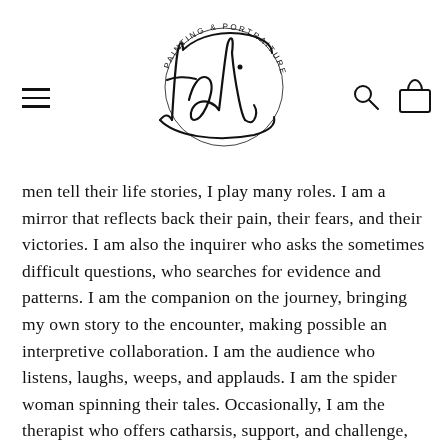[Figure (logo): Tali Painting & Portraiture logo — cursive 'tali' script with circular text 'PAINTING & PORTRAITURE' arcing around the left side]
men tell their life stories, I play many roles. I am a mirror that reflects back their pain, their fears, and their victories. I am also the inquirer who asks the sometimes difficult questions, who searches for evidence and patterns. I am the companion on the journey, bringing my own story to the encounter, making possible an interpretive collaboration. I am the audience who listens, laughs, weeps, and applauds. I am the spider woman spinning their tales. Occasionally, I am the therapist who offers catharsis, support, and challenge, and who keeps track of emotional minefields. Most absorbing to me is the role of the human archaeologist who uncovers the layers of mask and